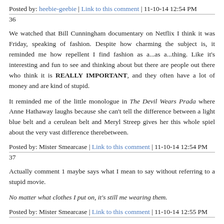Posted by: heebie-geebie | Link to this comment | 11-10-14 12:54 PM
36
We watched that Bill Cunningham documentary on Netflix I think it was Friday, speaking of fashion. Despite how charming the subject is, it reminded me how repellent I find fashion as a...as a...thing. Like it's interesting and fun to see and thinking about but there are people out there who think it is REALLY IMPORTANT, and they often have a lot of money and are kind of stupid.
It reminded me of the little monologue in The Devil Wears Prada where Anne Hathaway laughs because she can't tell the difference between a light blue belt and a cerulean belt and Meryl Streep gives her this whole spiel about the very vast difference therebetween.
Posted by: Mister Smearcase | Link to this comment | 11-10-14 12:54 PM
37
Actually comment 1 maybe says what I mean to say without referring to a stupid movie.
No matter what clothes I put on, it's still me wearing them.
Posted by: Mister Smearcase | Link to this comment | 11-10-14 12:55 PM